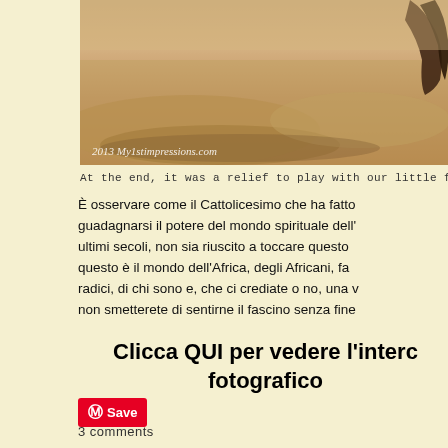[Figure (photo): Photo of sandy ground/beach scene with a person's arm/hand visible in the upper right corner. Watermark reads '2013 My1stimpressions.com']
At the end, it was a relief to play with our little friends
È osservare come il Cattolicesimo che ha fatto guadagnarsi il potere del mondo spirituale dell' ultimi secoli, non sia riuscito a toccare questo questo è il mondo dell'Africa, degli Africani, fa radici, di chi sono e, che ci crediate o no, una v non smetterete di sentirne il fascino senza fine
Clicca QUI per vedere l'interc fotografico
Save
3 comments